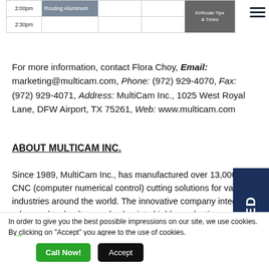| Time | Topic |  |  | EnRoute Tips & Tricks |
| --- | --- | --- | --- | --- |
| 2:00pm | Routing Aluminum |  |  | EnRoute Tips & Tricks |
| 2:30pm |  |  |  |  |
For more information, contact Flora Choy, Email: marketing@multicam.com, Phone: (972) 929-4070, Fax: (972) 929-4071, Address: MultiCam Inc., 1025 West Royal Lane, DFW Airport, TX 75261, Web: www.multicam.com
ABOUT MULTICAM INC.
Since 1989, MultiCam Inc., has manufactured over 13,000 CNC (computer numerical control) cutting solutions for various industries around the world. The innovative company integrates advanced technology and value into highly productive systems that are easy-to-use and built to last. MultiCam manufactures CNC Router, Laser, Plasma, Waterjet, and Knife cutting machines at its 108,000-square-foot facility in North Texas. A
In order to give you the best possible impressions on our site, we use cookies. By clicking on "Accept" you agree to the use of cookies.